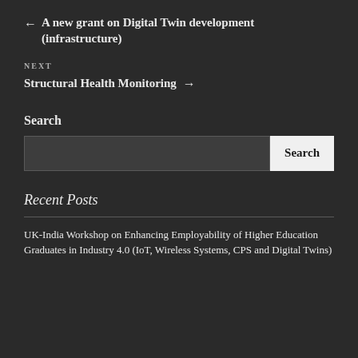← A new grant on Digital Twin development (infrastructure)
NEXT
Structural Health Monitoring →
Search
Recent Posts
UK-India Workshop on Enhancing Employability of Higher Education Graduates in Industry 4.0 (IoT, Wireless Systems, CPS and Digital Twins)